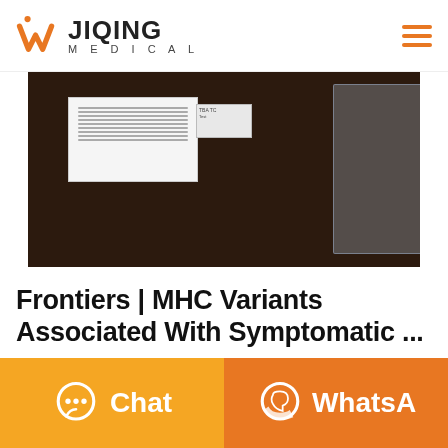[Figure (logo): Wjiqing Medical logo with orange W and hamburger menu icon]
[Figure (photo): Medical COVID-19 test kit components laid out on a dark brown table: instruction sheet, small box, alcohol pad (yellow packaging), purple item, and plastic bag with contents]
Frontiers | MHC Variants Associated With Symptomatic ...
Despite the high number of individuals infected by severe acute respiratory syndrome coronavirus 2 (SARS-CoV-2) who develop coronavirus disease
Chat
WhatsA